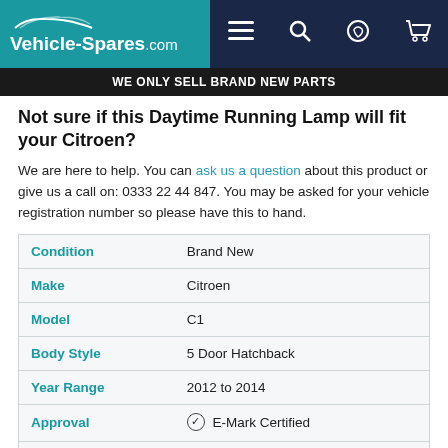Vehicle-Spares.com
WE ONLY SELL BRAND NEW PARTS
Not sure if this Daytime Running Lamp will fit your Citroen?
We are here to help. You can ask us a question about this product or give us a call on: 0333 22 44 847. You may be asked for your vehicle registration number so please have this to hand.
|  |  |
| --- | --- |
| Condition | Brand New |
| Make | Citroen |
| Model | C1 |
| Body Style | 5 Door Hatchback |
| Year Range | 2012 to 2014 |
| Approval | ⊘ E-Mark Certified |
| Warranty | 12 Month Manufacturers Warranty |